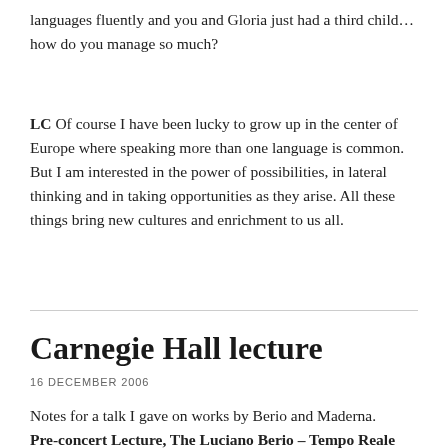languages fluently and you and Gloria just had a third child…how do you manage so much?
LC Of course I have been lucky to grow up in the center of Europe where speaking more than one language is common. But I am interested in the power of possibilities, in lateral thinking and in taking opportunities as they arise. All these things bring new cultures and enrichment to us all.
Carnegie Hall lecture
16 DECEMBER 2006
Notes for a talk I gave on works by Berio and Maderna.
Pre-concert Lecture, The Luciano Berio – Tempo Reale Workshop